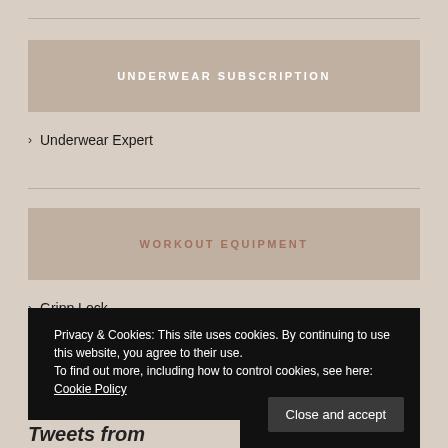UNDERWEAR SUBSCRIPTION
Underwear Expert
WORKOUT EQUIPMENT
Gripp Lock
Rogue
Privacy & Cookies: This site uses cookies. By continuing to use this website, you agree to their use.
To find out more, including how to control cookies, see here: Cookie Policy
Close and accept
Tweets from